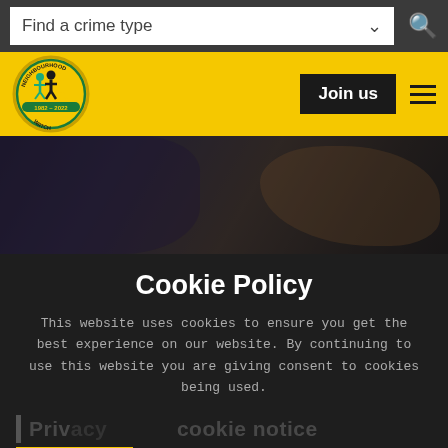Find a crime type
[Figure (logo): Neighbourhood Watch circular logo with figures and years 1982-2022]
Join us
[Figure (photo): Dark hero image background showing person]
Cookie Policy
This website uses cookies to ensure you get the best experience on our website. By continuing to use this website you are giving consent to cookies being used.
Privacy cookie notice
ACCEPT
More information